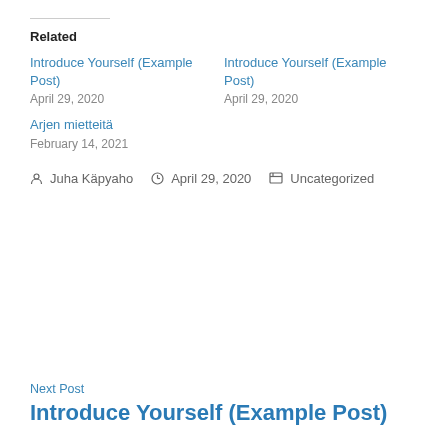Related
Introduce Yourself (Example Post)
April 29, 2020
Introduce Yourself (Example Post)
April 29, 2020
Arjen mietteitä
February 14, 2021
👤 Juha Käpyaho  🕐 April 29, 2020  🗂 Uncategorized
Next Post
Introduce Yourself (Example Post)